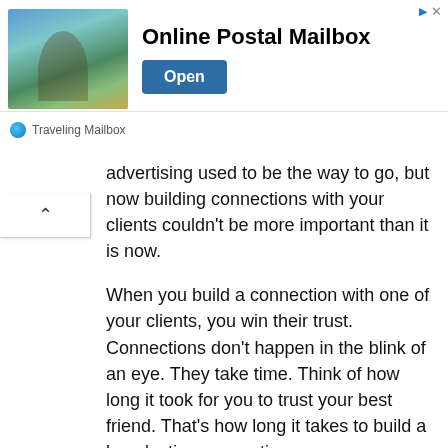[Figure (screenshot): Advertisement banner for 'Online Postal Mailbox' (Traveling Mailbox) with a beach/travel photo, bold title, and an 'Open' button]
advertising used to be the way to go, but now building connections with your clients couldn't be more important than it is now.
When you build a connection with one of your clients, you win their trust. Connections don't happen in the blink of an eye. They take time. Think of how long it took for you to trust your best friend. That's how long it takes to build a long lasting connection.
There is a golden rule that surrounds building connections that contrasts against the